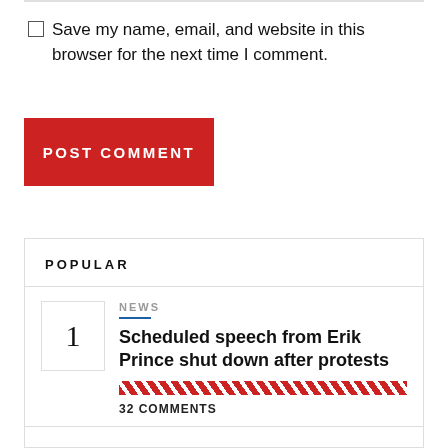Save my name, email, and website in this browser for the next time I comment.
POST COMMENT
POPULAR
NEWS
Scheduled speech from Erik Prince shut down after protests
32 COMMENTS